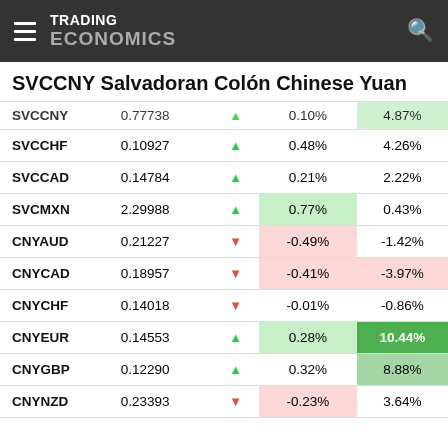TRADING ECONOMICS
SVCCNY Salvadoran Colón Chinese Yuan
| Ticker | Price |  | % Change | % Change YTD |
| --- | --- | --- | --- | --- |
| SVCCNY | 0.77738 | ▲ | 0.10% | 4.87% |
| SVCCHF | 0.10927 | ▲ | 0.48% | 4.26% |
| SVCCAD | 0.14784 | ▲ | 0.21% | 2.22% |
| SVCMXN | 2.29988 | ▲ | 0.77% | 0.43% |
| CNYAUD | 0.21227 | ▼ | -0.49% | -1.42% |
| CNYCAD | 0.18957 | ▼ | -0.41% | -3.97% |
| CNYCHF | 0.14018 | ▼ | -0.01% | -0.86% |
| CNYEUR | 0.14553 | ▲ | 0.28% | 10.44% |
| CNYGBP | 0.12290 | ▲ | 0.32% | 8.88% |
| CNYNZD | 0.23393 | ▼ | -0.23% | 3.64% |